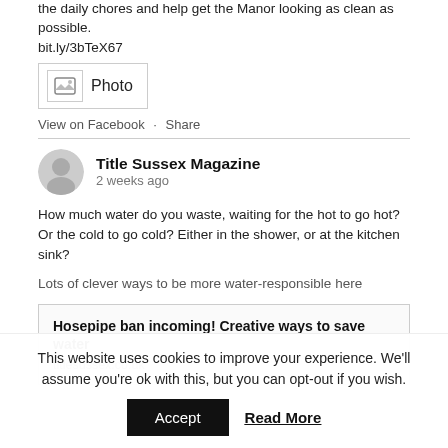the daily chores and help get the Manor looking as clean as possible. bit.ly/3bTeX67
[Figure (other): Photo placeholder icon with label 'Photo']
View on Facebook · Share
Title Sussex Magazine
2 weeks ago
How much water do you waste, waiting for the hot to go hot? Or the cold to go cold? Either in the shower, or at the kitchen sink?
Lots of clever ways to be more water-responsible here
Hosepipe ban incoming! Creative ways to save water
titlesussex.co.uk
This website uses cookies to improve your experience. We'll assume you're ok with this, but you can opt-out if you wish.